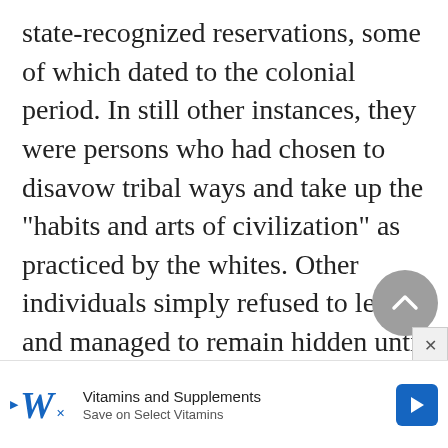state-recognized reservations, some of which dated to the colonial period. In still other instances, they were persons who had chosen to disavow tribal ways and take up the "habits and arts of civilization" as practiced by the whites. Other individuals simply refused to leave and managed to remain hidden until the storm blew over, by which time their numbers were so insignificant that they were no longer a concern to the authorities es ard
[Figure (other): Gray circular back-to-top button with upward chevron arrow icon overlaid on main text content]
[Figure (other): Advertisement banner for Walgreens showing 'Vitamins and Supplements - Save on Select Vitamins' with Walgreens logo and blue directional arrow icon]